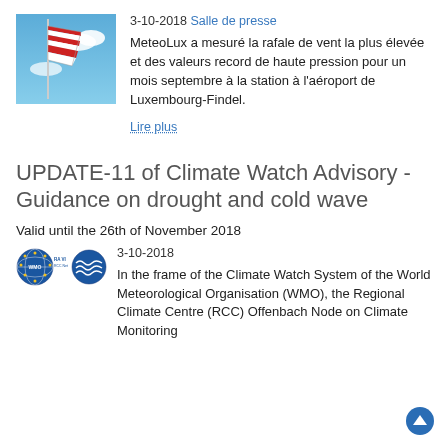[Figure (photo): Windsock with red and white stripes against a blue sky with clouds]
3-10-2018 Salle de presse
MeteoLux a mesuré la rafale de vent la plus élevée et des valeurs record de haute pression pour un mois septembre à la station à l'aéroport de Luxembourg-Findel.
Lire plus
UPDATE-11 of Climate Watch Advisory - Guidance on drought and cold wave
Valid until the 26th of November 2018
[Figure (logo): WMO RA VI RCC Network logos]
3-10-2018
In the frame of the Climate Watch System of the World Meteorological Organisation (WMO), the Regional Climate Centre (RCC) Offenbach Node on Climate Monitoring